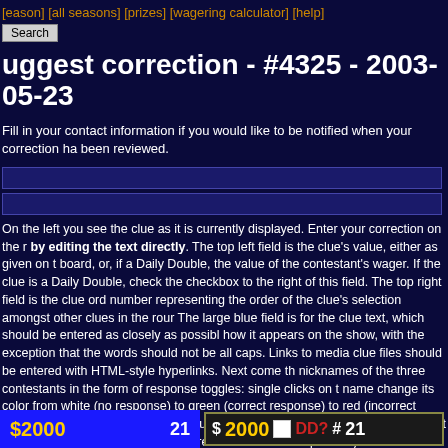[season] [all seasons] [prizes] [wagering calculator] [help]
Search
uggest correction - #4325 - 2003-05-23
Fill in your contact information if you would like to be notified when your correction has been reviewed.
On the left you see the clue as it is currently displayed. Enter your correction on the right by editing the text directly. The top left field is the clue's value, either as given on the board, or, if a Daily Double, the value of the contestant's wager. If the clue is a Daily Double, check the checkbox to the right of this field. The top right field is the clue order number representing the order of the clue's selection amongst other clues in the round. The large blue field is for the clue text, which should be entered as closely as possible how it appears on the show, with the exception that the words should not be all caps. Links to media clue files should be entered with HTML-style hyperlinks. Next come the nicknames of the three contestants in the form of response toggles: single clicks on the name change its color from white (no response) to green (correct response) to red (incorrect response) and back. Below this should be typed the correct response (only most essential part--it should not be entered in the form of a question). The bottom field on the right is the clue comments field, where dialog (including incorrect responses) can be entered. (Note that the correct response should never be typed in the comments field, rather, it should be denoted by [*].)
[Figure (screenshot): Bottom bar showing clue editor fields: left blue panel with $2000 value and 21 order number; right dark panel with $2000, DD? checkbox, and #21]